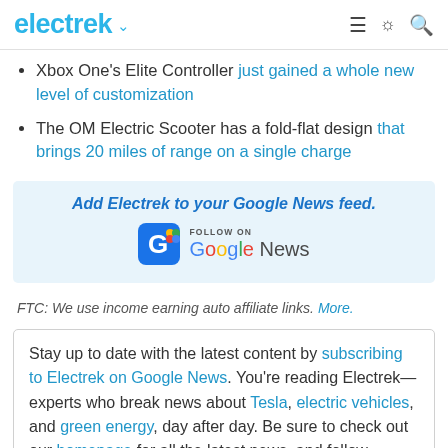electrek
Xbox One's Elite Controller just gained a whole new level of customization
The OM Electric Scooter has a fold-flat design that brings 20 miles of range on a single charge
[Figure (infographic): Add Electrek to your Google News feed. Follow on Google News badge.]
FTC: We use income earning auto affiliate links. More.
Stay up to date with the latest content by subscribing to Electrek on Google News. You're reading Electrek—experts who break news about Tesla, electric vehicles, and green energy, day after day. Be sure to check out our homepage for all the latest news, and follow Electrek on Twitter, Facebook, and LinkedIn to stay in